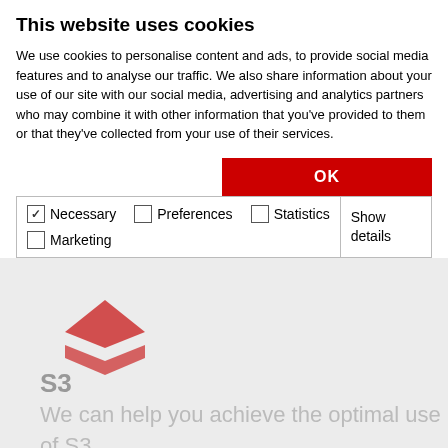This website uses cookies
We use cookies to personalise content and ads, to provide social media features and to analyse our traffic. We also share information about your use of our site with our social media, advertising and analytics partners who may combine it with other information that you've provided to them or that they've collected from your use of their services.
OK
Necessary  Preferences  Statistics  Marketing  Show details
[Figure (logo): Red layered diamond/chevron logo]
S3
We can help you achieve the optimal use of S3 (Simple Storage Service on AWS), through S3